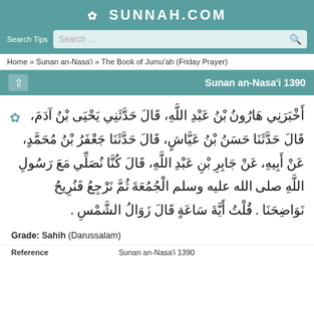SUNNAH.COM
Search Tips  Search ...
Home » Sunan an-Nasa'i » The Book of Jumu'ah (Friday Prayer)
Sunan an-Nasa'i 1390
أَخْبَرَنِي هَارُونُ بْنُ عَبْدِ اللَّهِ، قَالَ حَدَّثَنِي يَحْيَى بْنُ آدَمَ، قَالَ حَدَّثَنَا حَسَنُ بْنُ عَيَّاشٍ، قَالَ حَدَّثَنَا جَعْفَرُ بْنُ مُحَمَّدٍ، عَنْ أَبِيهِ، عَنْ جَابِرِ بْنِ عَبْدِ اللَّهِ، قَالَ كُنَّا نُصَلِّي مَعَ رَسُولِ اللَّهِ صلى الله عليه وسلم الْجُمُعَةَ ثُمَّ نَرْجِعُ فَنُرِيحُ نَوَاضِحَنَا . قُلْتُ أَيَّةَ سَاعَةٍ قَالَ زَوَالُ الشَّمْسِ .
Grade: Sahih (Darussalam)
Reference  Sunan an-Nasa'i 1390